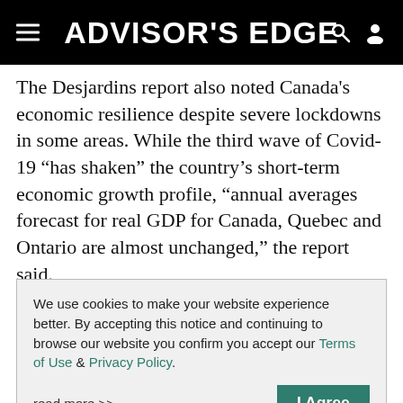ADVISOR'S EDGE
The Desjardins report also noted Canada's economic resilience despite severe lockdowns in some areas. While the third wave of Covid-19 “has shaken” the country’s short-term economic growth profile, “annual averages forecast for real GDP for Canada, Quebec and Ontario are almost unchanged,” the report said.
About 29% of Canada’s population has received at
We use cookies to make your website experience better. By accepting this notice and continuing to browse our website you confirm you accept our Terms of Use & Privacy Policy.
read more >>
I Agree
Consensus EPS growth forecasts for this year have